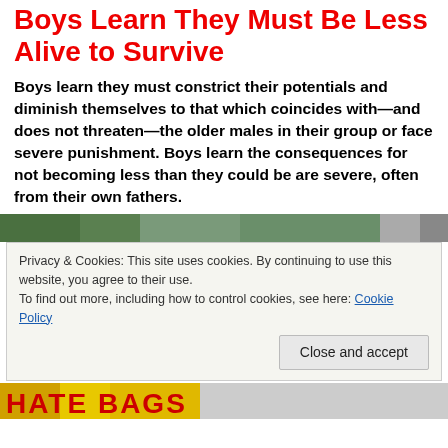Boys Learn They Must Be Less Alive to Survive
Boys learn they must constrict their potentials and diminish themselves to that which coincides with—and does not threaten—the older males in their group or face severe punishment. Boys learn the consequences for not becoming less than they could be are severe, often from their own fathers.
[Figure (photo): Partial image of outdoor scene with greenery visible at top]
Privacy & Cookies: This site uses cookies. By continuing to use this website, you agree to their use.
To find out more, including how to control cookies, see here: Cookie Policy
[Figure (photo): Bottom image showing colorful banners/signs with partial text visible]